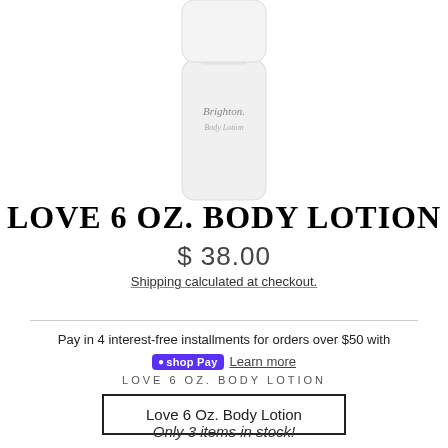[Figure (photo): Brighton Body Lotion white cylindrical bottle, partially cropped at top]
LOVE 6 OZ. BODY LOTION
$ 38.00
Shipping calculated at checkout.
Pay in 4 interest-free installments for orders over $50 with shop Pay Learn more
LOVE 6 OZ. BODY LOTION
Love 6 Oz. Body Lotion
Only 3 items in stock!